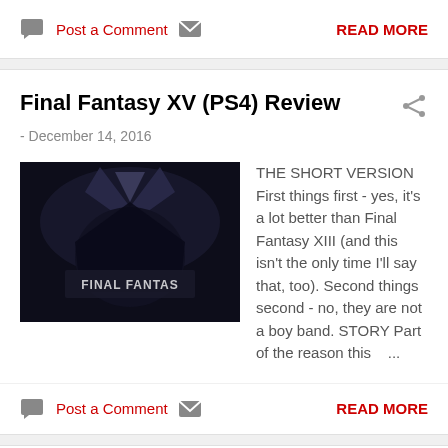Post a Comment   READ MORE
Final Fantasy XV (PS4) Review
- December 14, 2016
[Figure (logo): Final Fantasy XV logo — dark stylized image with game title text]
THE SHORT VERSION First things first - yes, it's a lot better than Final Fantasy XIII (and this isn't the only time I'll say that, too). Second things second - no, they are not a boy band. STORY Part of the reason this ...
Post a Comment   READ MORE
MOONLIGHT TO PREMIERE